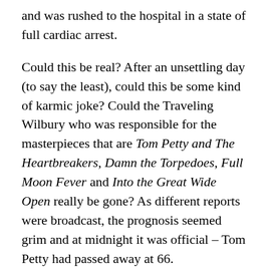and was rushed to the hospital in a state of full cardiac arrest.
Could this be real? After an unsettling day (to say the least), could this be some kind of karmic joke? Could the Traveling Wilbury who was responsible for the masterpieces that are Tom Petty and The Heartbreakers, Damn the Torpedoes, Full Moon Fever and Into the Great Wide Open really be gone? As different reports were broadcast, the prognosis seemed grim and at midnight it was official – Tom Petty had passed away at 66.
The following day I decided to write about Tom Petty and had three thoughts: